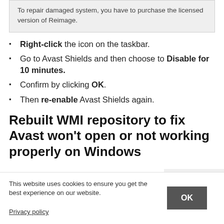To repair damaged system, you have to purchase the licensed version of Reimage.
Right-click the icon on the taskbar.
Go to Avast Shields and then choose to Disable for 10 minutes.
Confirm by clicking OK.
Then re-enable Avast Shields again.
Rebuilt WMI repository to fix Avast won't open or not working properly on Windows
This website uses cookies to ensure you get the best experience on our website.
Privacy policy    OK
licensed version